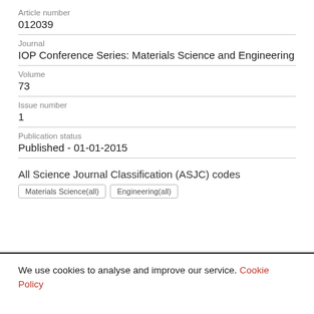Article number
012039
Journal
IOP Conference Series: Materials Science and Engineering
Volume
73
Issue number
1
Publication status
Published - 01-01-2015
All Science Journal Classification (ASJC) codes
Materials Science(all)   Engineering(all)
We use cookies to analyse and improve our service. Cookie Policy